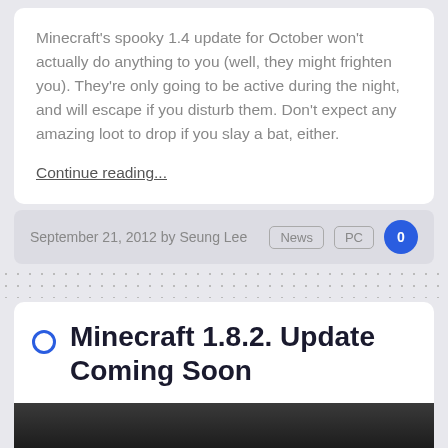Minecraft's spooky 1.4 update for October won't actually do anything to you (well, they might frighten you). They're only going to be active during the night, and will escape if you disturb them. Don't expect any amazing loot to drop if you slay a bat, either.
Continue reading...
September 21, 2012 by Seung Lee  News  PC  0
Minecraft 1.8.2. Update Coming Soon